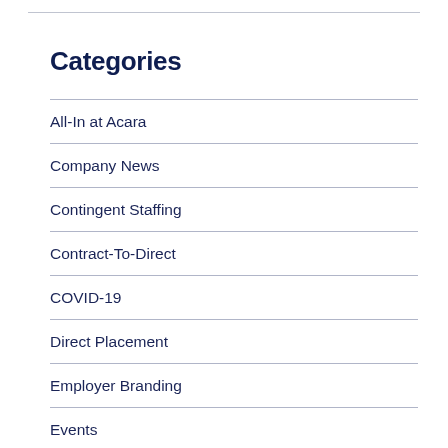Categories
All-In at Acara
Company News
Contingent Staffing
Contract-To-Direct
COVID-19
Direct Placement
Employer Branding
Events